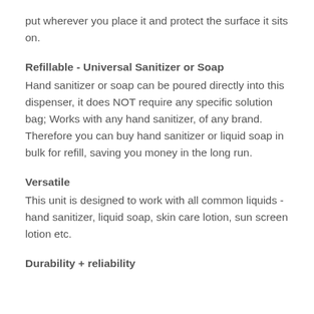put wherever you place it and protect the surface it sits on.
Refillable - Universal Sanitizer or Soap
Hand sanitizer or soap can be poured directly into this dispenser, it does NOT require any specific solution bag; Works with any hand sanitizer, of any brand. Therefore you can buy hand sanitizer or liquid soap in bulk for refill, saving you money in the long run.
Versatile
This unit is designed to work with all common liquids - hand sanitizer, liquid soap, skin care lotion, sun screen lotion etc.
Durability + reliability